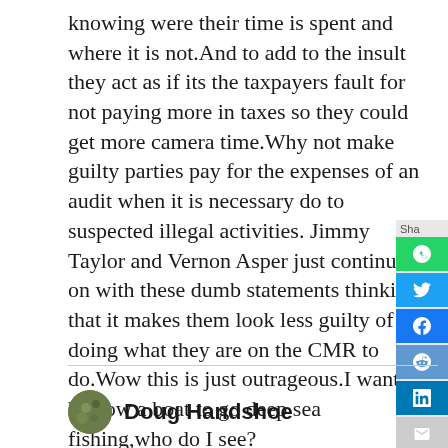knowing were their time is spent and where it is not.And to add to the insult they act as if its the taxpayers fault for not paying more in taxes so they could get more camera time.Why not make guilty parties pay for the expenses of an audit when it is necessary do to suspected illegal activities. Jimmy Taylor and Vernon Asper just continue on with these dumb statements thinking that it makes them look less guilty of not doing what they are on the CMR to do.Wow this is just outrageous.I want to borrow a boat to go deep sea fishing,who do I see?
Doug Handshoe